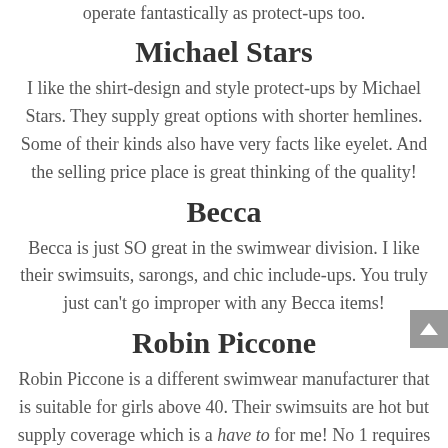operate fantastically as protect-ups too.
Michael Stars
I like the shirt-design and style protect-ups by Michael Stars. They supply great options with shorter hemlines. Some of their kinds also have very facts like eyelet. And the selling price place is great thinking of the quality!
Becca
Becca is just SO great in the swimwear division. I like their swimsuits, sarongs, and chic include-ups. You truly just can't go improper with any Becca items!
Robin Piccone
Robin Piccone is a different swimwear manufacturer that is suitable for girls above 40. Their swimsuits are hot but supply coverage which is a have to for me! No 1 requires to see my butt cheeks on the